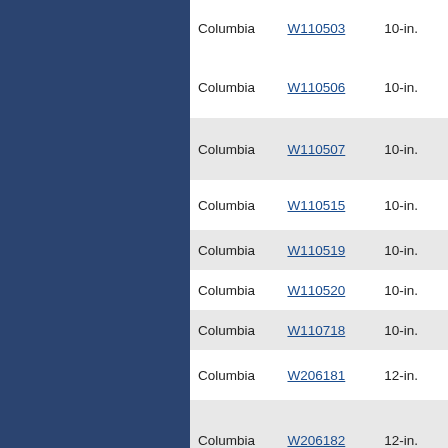| City | ID | Size |
| --- | --- | --- |
| Columbia | W110503 | 10-in. |
| Columbia | W110506 | 10-in. |
| Columbia | W110507 | 10-in. |
| Columbia | W110515 | 10-in. |
| Columbia | W110519 | 10-in. |
| Columbia | W110520 | 10-in. |
| Columbia | W110718 | 10-in. |
| Columbia | W206181 | 12-in. |
| Columbia | W206182 | 12-in. |
| Columbia | W206187 | 12-in. |